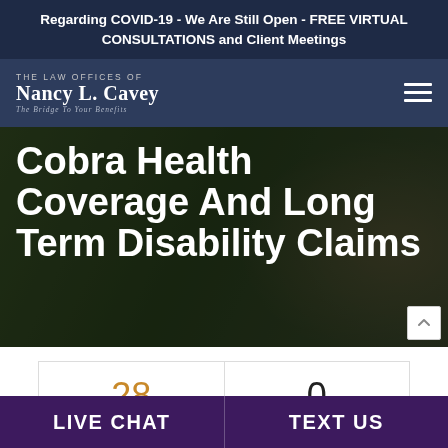Regarding COVID-19 - We Are Still Open - FREE VIRTUAL CONSULTATIONS and Client Meetings
[Figure (logo): The Law Offices of Nancy L. Cavey - The Bridge To Your Benefits law firm logo in white text on dark navy background, with hamburger menu icon on right]
[Figure (photo): Hero image with dark green/olive overlay showing wheelchair user, with white bold text overlay reading: Cobra Health Coverage And Long Term Disability Claims]
Cobra Health Coverage And Long Term Disability Claims
| Date | Comments |
| --- | --- |
| 28
October | 0
Comments |
LIVE CHAT | TEXT US